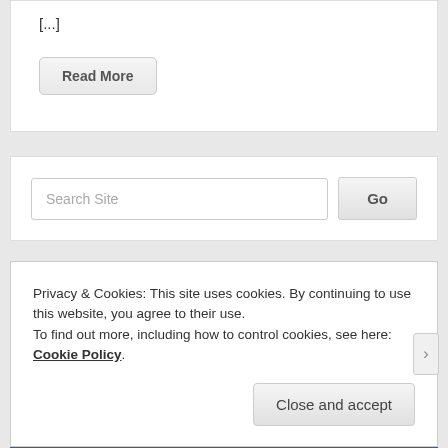[...]
Read More
Search Site
Go
Privacy & Cookies: This site uses cookies. By continuing to use this website, you agree to their use.
To find out more, including how to control cookies, see here: Cookie Policy
Close and accept
Follow